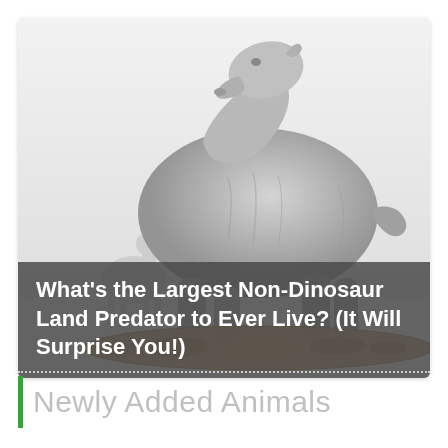[Figure (photo): 3D model or sculpture of a large prehistoric mammal (possibly Paraceratherium or similar giant land mammal), shown in profile facing left with a long neck, stocky body, and four legs. A smaller silhouette of a human or animal is shown in the background for scale comparison. The animal stands on a rocky or earthen base. The image has a light grey/white background.]
What's the Largest Non-Dinosaur Land Predator to Ever Live? (It Will Surprise You!)
Newly Added Animals